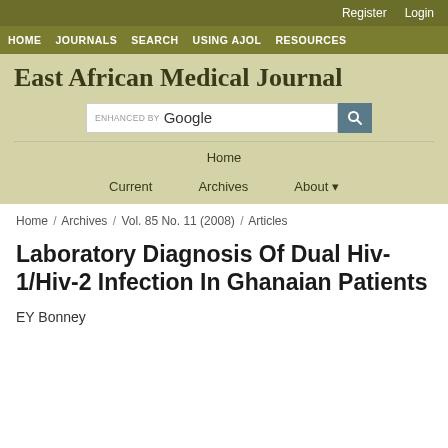Register  Login
HOME  JOURNALS  SEARCH  USING AJOL  RESOURCES
East African Medical Journal
[Figure (screenshot): Google search bar with 'ENHANCED BY Google' text and search button]
Home
Current   Archives   About
Home / Archives / Vol. 85 No. 11 (2008) / Articles
Laboratory Diagnosis Of Dual Hiv-1/Hiv-2 Infection In Ghanaian Patients
EY Bonney